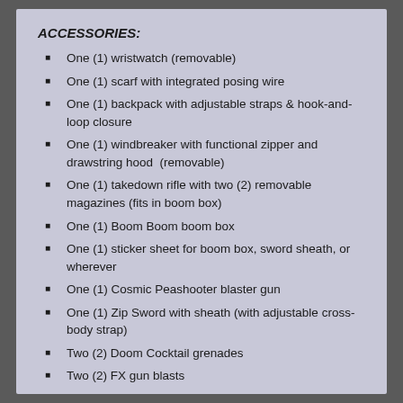ACCESSORIES:
One (1) wristwatch (removable)
One (1) scarf with integrated posing wire
One (1) backpack with adjustable straps & hook-and-loop closure
One (1) windbreaker with functional zipper and drawstring hood  (removable)
One (1) takedown rifle with two (2) removable magazines (fits in boom box)
One (1) Boom Boom boom box
One (1) sticker sheet for boom box, sword sheath, or wherever
One (1) Cosmic Peashooter blaster gun
One (1) Zip Sword with sheath (with adjustable cross-body strap)
Two (2) Doom Cocktail grenades
Two (2) FX gun blasts
One (1) One:12 Collective display base